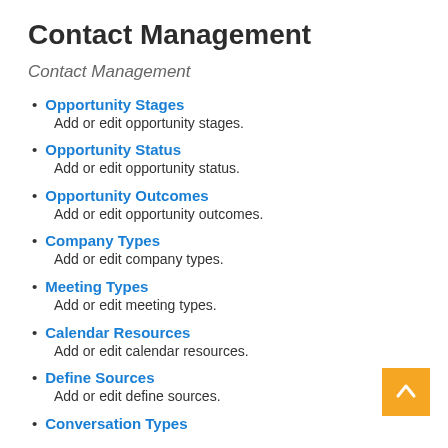Contact Management
Contact Management
Opportunity Stages
Add or edit opportunity stages.
Opportunity Status
Add or edit opportunity status.
Opportunity Outcomes
Add or edit opportunity outcomes.
Company Types
Add or edit company types.
Meeting Types
Add or edit meeting types.
Calendar Resources
Add or edit calendar resources.
Define Sources
Add or edit define sources.
Conversation Types